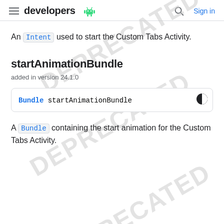developers | Sign in
An Intent used to start the Custom Tabs Activity.
startAnimationBundle
added in version 24.1.0
Bundle startAnimationBundle
A Bundle containing the start animation for the Custom Tabs Activity.